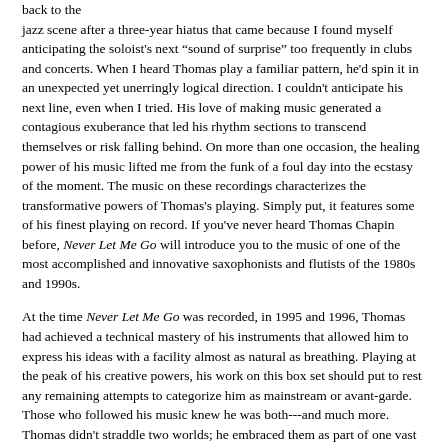back to the jazz scene after a three-year hiatus that came because I found myself anticipating the soloist's next “sound of surprise” too frequently in clubs and concerts. When I heard Thomas play a familiar pattern, he'd spin it in an unexpected yet unerringly logical direction. I couldn't anticipate his next line, even when I tried. His love of making music generated a contagious exuberance that led his rhythm sections to transcend themselves or risk falling behind. On more than one occasion, the healing power of his music lifted me from the funk of a foul day into the ecstasy of the moment. The music on these recordings characterizes the transformative powers of Thomas's playing. Simply put, it features some of his finest playing on record. If you've never heard Thomas Chapin before, Never Let Me Go will introduce you to the music of one of the most accomplished and innovative saxophonists and flutists of the 1980s and 1990s.
At the time Never Let Me Go was recorded, in 1995 and 1996, Thomas had achieved a technical mastery of his instruments that allowed him to express his ideas with a facility almost as natural as breathing. Playing at the peak of his creative powers, his work on this box set should put to rest any remaining attempts to categorize him as mainstream or avant-garde. Those who followed his music knew he was both---and much more. Thomas didn't straddle two worlds; he embraced them as part of one vast spectrum of music. He was a musical omnivore whose passion for ethnic music led him to play many wind and percussion instruments from other cultures. He performed punk rock, tango, and classical music, and backed